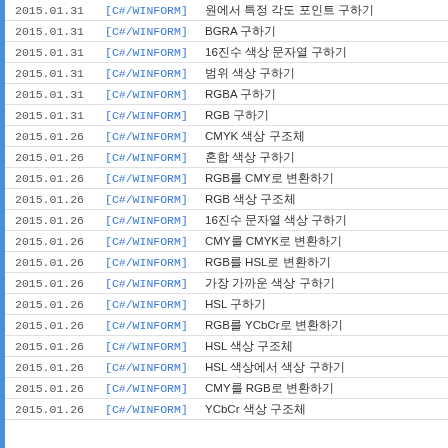2015.01.31  [C#/WINFORM]  원에서 특정 각도 포인트 구하기
2015.01.31  [C#/WINFORM]  BGRA 구하기
2015.01.31  [C#/WINFORM]  16진수 색상 문자열 구하기
2015.01.31  [C#/WINFORM]  범위 색상 구하기
2015.01.31  [C#/WINFORM]  RGBA 구하기
2015.01.31  [C#/WINFORM]  RGB 구하기
2015.01.26  [C#/WINFORM]  CMYK 색상 구조체
2015.01.26  [C#/WINFORM]  혼합 색상 구하기
2015.01.26  [C#/WINFORM]  RGB를 CMY로 변환하기
2015.01.26  [C#/WINFORM]  RGB 색상 구조체
2015.01.26  [C#/WINFORM]  16진수 문자열 색상 구하기
2015.01.26  [C#/WINFORM]  CMY를 CMYK로 변환하기
2015.01.26  [C#/WINFORM]  RGB를 HSL로 변환하기
2015.01.26  [C#/WINFORM]  가장 가까운 색상 구하기
2015.01.26  [C#/WINFORM]  HSL 구하기
2015.01.26  [C#/WINFORM]  RGB를 YCbCr로 변환하기
2015.01.26  [C#/WINFORM]  HSL 색상 구조체
2015.01.26  [C#/WINFORM]  HSL 색상에서 색상 구하기
2015.01.26  [C#/WINFORM]  CMY를 RGB로 변환하기
2015.01.26  [C#/WINFORM]  YCbCr 색상 구조체